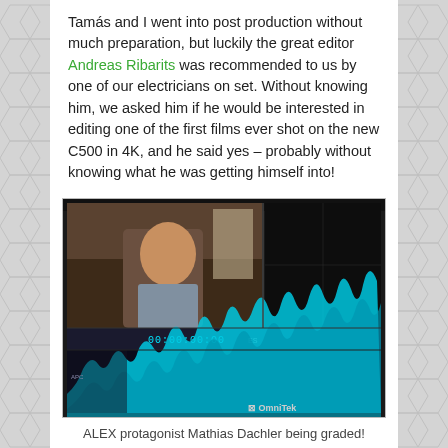Tamás and I went into post production without much preparation, but luckily the great editor Andreas Ribarits was recommended to us by one of our electricians on set. Without knowing him, we asked him if he would be interested in editing one of the first films ever shot on the new C500 in 4K, and he said yes – probably without knowing what he was getting himself into!
[Figure (photo): A monitor displaying video editing software (OmniTek) showing footage of a man (ALEX protagonist Mathias Dachler) with a timecode display 00:00:00:00 and waveform/audio visualization in cyan/teal at the bottom of the screen.]
ALEX protagonist Mathias Dachler being graded!